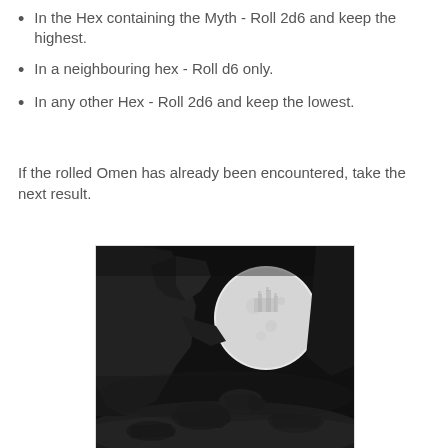In the Hex containing the Myth - Roll 2d6 and keep the highest.
In a neighbouring hex - Roll d6 only.
In any other Hex - Roll 2d6 and keep the lowest.
If the rolled Omen has already been encountered, take the next result.
[Figure (illustration): Dark fantasy black and white illustration showing werewolf-like creatures howling at a large full moon, with a castle silhouette in the background and misty ground with multiple wolf creatures.]